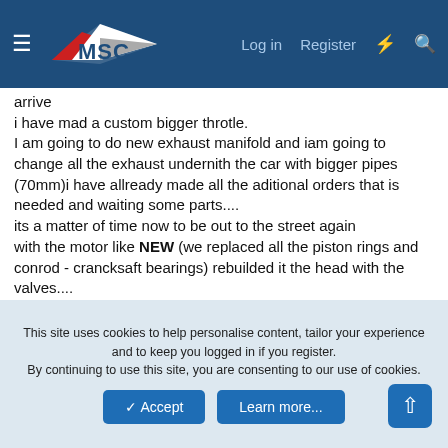MSC — Log in  Register
arrive
i have mad a custom bigger throtle.
I am going to do new exhaust manifold and iam going to change all the exhaust undernith the car with bigger pipes (70mm)i have allready made all the aditional orders that is needed and waiting some parts....
its a matter of time now to be out to the street again
with the motor like NEW (we replaced all the piston rings and conrod - crancksaft bearings) rebuilded it the head with the valves....
new head gasket...
and now just waiting to arrive the new things...i want to put a "3" to the first number of my power
hahahahahahahahahahahahahahahahahahahahahahahahahahaha
This site uses cookies to help personalise content, tailor your experience and to keep you logged in if you register.
By continuing to use this site, you are consenting to our use of cookies.